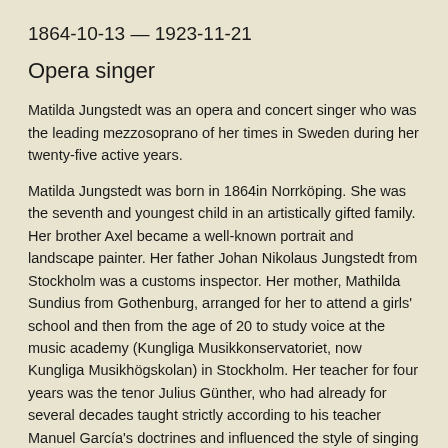1864-10-13 — 1923-11-21
Opera singer
Matilda Jungstedt was an opera and concert singer who was the leading mezzosoprano of her times in Sweden during her twenty-five active years.
Matilda Jungstedt was born in 1864 in Norrköping. She was the seventh and youngest child in an artistically gifted family. Her brother Axel became a well-known portrait and landscape painter. Her father Johan Nikolaus Jungstedt from Stockholm was a customs inspector. Her mother, Mathilda Sundius from Gothenburg, arranged for her to attend a girls' school and then from the age of 20 to study voice at the music academy (Kungliga Musikkonservatoriet, now Kungliga Musikhögskolan) in Stockholm. Her teacher for four years was the tenor Julius Günther, who had already for several decades taught strictly according to his teacher Manuel García's doctrines and influenced the style of singing of several generations of opera singers.
After having excelled in a minor role in Boito's opera Mephistopheles in 1888, Matilda Jungstedt realised that what she